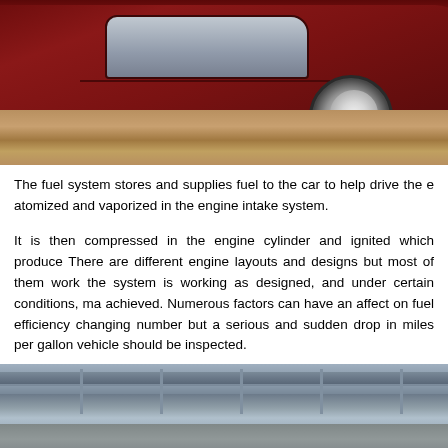[Figure (photo): Photo of a dark red/maroon car side view showing the lower body, wheel, and sandy/brick ground surface]
The fuel system stores and supplies fuel to the car to help drive the e atomized and vaporized in the engine intake system.
It is then compressed in the engine cylinder and ignited which produce There are different engine layouts and designs but most of them work the system is working as designed, and under certain conditions, ma achieved. Numerous factors can have an affect on fuel efficiency changing number but a serious and sudden drop in miles per gallon vehicle should be inspected.
[Figure (photo): Photo of a bridge structure with road surface, showing metal framework and rails in a gray/blue tone]